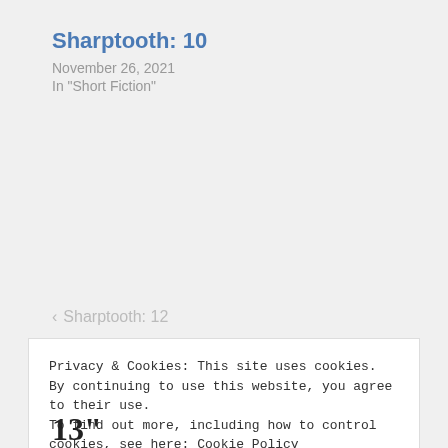Sharptooth: 10
November 26, 2021
In "Short Fiction"
‹  Sharptooth: 12
Privacy & Cookies: This site uses cookies. By continuing to use this website, you agree to their use.
To find out more, including how to control cookies, see here: Cookie Policy
Close and accept
13"